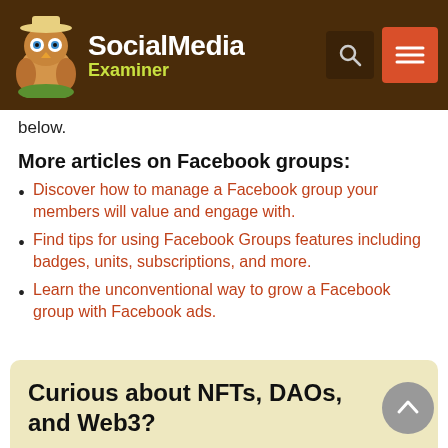Social Media Examiner
below.
More articles on Facebook groups:
Discover how to manage a Facebook group your members will value and engage with.
Find tips for using Facebook Groups features including badges, units, subscriptions, and more.
Learn the unconventional way to grow a Facebook group with Facebook ads.
Curious about NFTs, DAOs, and Web3?